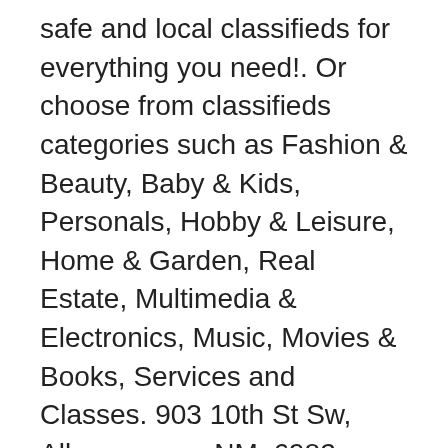safe and local classifieds for everything you need!. Or choose from classifieds categories such as Fashion & Beauty, Baby & Kids, Personals, Hobby & Leisure, Home & Garden, Real Estate, Multimedia & Electronics, Music, Movies & Books, Services and Classes. 903 10th St Sw, Albuquerque, NM. 6982 Clark Hills Dr, Rio Rancho, NM. (abq > Albuquerque ) pic hide this posting restore restore this posting. to 11:30 a. Search from 6490 Used cars for sale, including a 2015 Buick LaCrosse Leather, a 2015 Lincoln MKZ AWD, and a 2015 RAM 1500 Sport ranging in price from $3,995 to $228,887. Don't miss what's happening in your neighborhood. 40 Under Forty - 20th Anniversary. $0 (6000 San Mateo Blvd NE Albuquerque NM ) pic hide this posting restore restore this posting. Death notices are